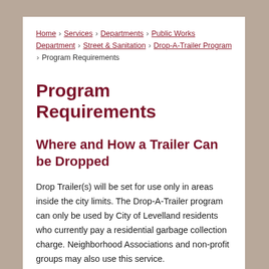Home › Services › Departments › Public Works Department › Street & Sanitation › Drop-A-Trailer Program › Program Requirements
Program Requirements
Where and How a Trailer Can be Dropped
Drop Trailer(s) will be set for use only in areas inside the city limits. The Drop-A-Trailer program can only be used by City of Levelland residents who currently pay a residential garbage collection charge. Neighborhood Associations and non-profit groups may also use this service.